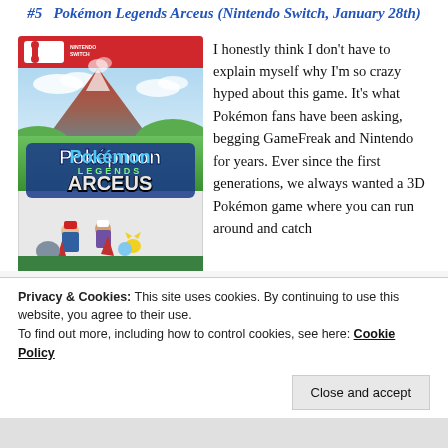#5  Pokémon Legends Arceus (Nintendo Switch, January 28th)
[Figure (photo): Nintendo Switch game box cover for Pokémon Legends: Arceus showing characters and Pokémon in a landscape with a mountain]
I honestly think I don't have to explain myself why I'm so crazy hyped about this game. It's what Pokémon fans have been asking, begging GameFreak and Nintendo for years. Ever since the first generations, we always wanted a 3D Pokémon game where you can run around and catch
Privacy & Cookies: This site uses cookies. By continuing to use this website, you agree to their use.
To find out more, including how to control cookies, see here: Cookie Policy
Close and accept